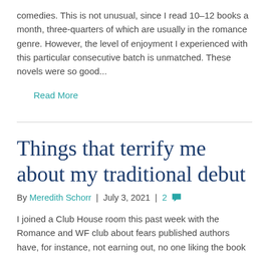comedies. This is not unusual, since I read 10-12 books a month, three-quarters of which are usually in the romance genre. However, the level of enjoyment I experienced with this particular consecutive batch is unmatched. These novels were so good...
Read More
Things that terrify me about my traditional debut
By Meredith Schorr | July 3, 2021 | 2
I joined a Club House room this past week with the Romance and WF club about fears published authors have, for instance, not earning out, no one liking the book